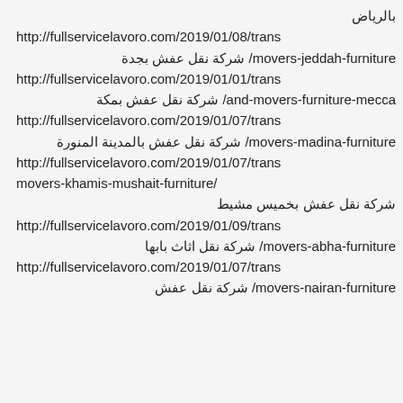بالرياض http://fullservicelavoro.com/2019/01/08/trans movers-jeddah-furniture/ شركة نقل عفش بجدة
http://fullservicelavoro.com/2019/01/01/trans and-movers-furniture-mecca/ شركة نقل عفش بمكة
http://fullservicelavoro.com/2019/01/07/trans movers-madina-furniture/ شركة نقل عفش بالمدينة المنورة
http://fullservicelavoro.com/2019/01/07/trans movers-khamis-mushait-furniture/ شركة نقل عفش بخميس مشيط
http://fullservicelavoro.com/2019/01/09/trans movers-abha-furniture/ شركة نقل اثاث بابها
http://fullservicelavoro.com/2019/01/07/trans movers-nairan-furniture/ شركة نقل عفش